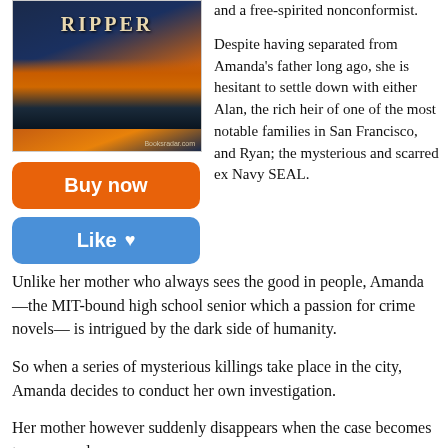[Figure (illustration): Book cover for 'Ripper' showing a suspension bridge (Golden Gate style) lit with orange lights over dark water, with foggy atmosphere. Small text 'Booksradar.com' at bottom right of cover.]
Buy now
Like ♥
and a free-spirited nonconformist.
Despite having separated from Amanda's father long ago, she is hesitant to settle down with either Alan, the rich heir of one of the most notable families in San Francisco, and Ryan; the mysterious and scarred ex Navy SEAL.
Unlike her mother who always sees the good in people, Amanda—the MIT-bound high school senior which a passion for crime novels— is intrigued by the dark side of humanity.
So when a series of mysterious killings take place in the city, Amanda decides to conduct her own investigation.
Her mother however suddenly disappears when the case becomes too personal.
Could this be the work of a serial killer on the loose?